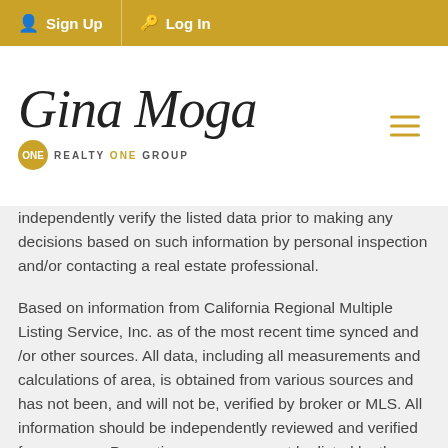Sign Up   Log In
[Figure (logo): Gina Moga Realty One Group logo with cursive script text and gold circular badge]
independently verify the listed data prior to making any decisions based on such information by personal inspection and/or contacting a real estate professional.
Based on information from California Regional Multiple Listing Service, Inc. as of the most recent time synced and /or other sources. All data, including all measurements and calculations of area, is obtained from various sources and has not been, and will not be, verified by broker or MLS. All information should be independently reviewed and verified for accuracy. Properties may or may not be listed by the office/agent presenting the information
Last Updated: Yesterday at 10:59 PM. Source: CRMLS